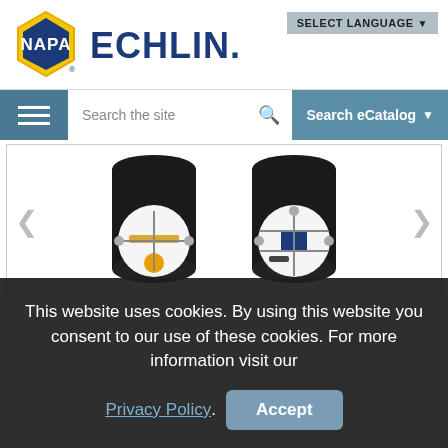[Figure (logo): NAPA Echlin brand logo with yellow NAPA hexagon and blue ECHLIN text]
SELECT LANGUAGE ▼
Search the site
Search eCatalog ▼
[Figure (photo): Two automotive distributor caps shown from above with internal components visible, on black cylindrical bodies with white contact plates inside]
This website uses cookies. By using this website you consent to our use of these cookies. For more information visit our
Privacy Policy. Accept